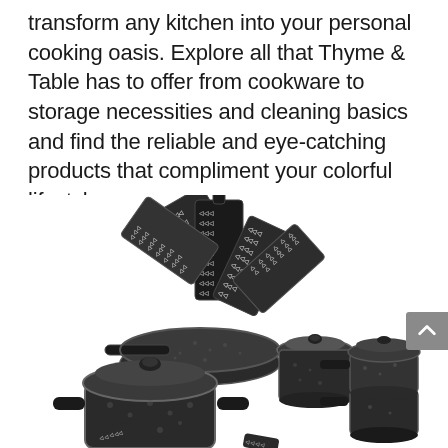transform any kitchen into your personal cooking oasis. Explore all that Thyme & Table has to offer from cookware to storage necessities and cleaning basics and find the reliable and eye-catching products that compliment your colorful lifestyle
[Figure (photo): A collection of black granite-patterned cookware set including frying pans, pots with lids, and decorative black and white patterned pot holders/trivets arranged together on a white background.]